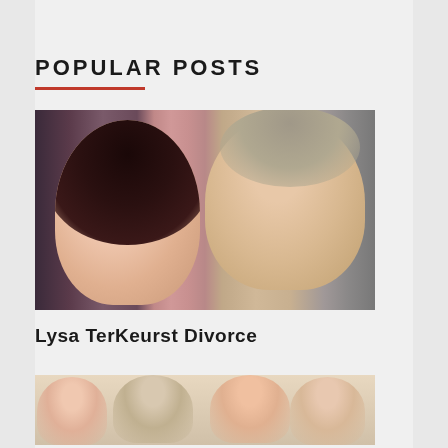POPULAR POSTS
[Figure (photo): Photo of a couple - a woman with dark hair and a man smiling together]
Lysa TerKeurst Divorce
[Figure (photo): Group photo of four people including a young woman, an older man, a blonde woman, and a young man]